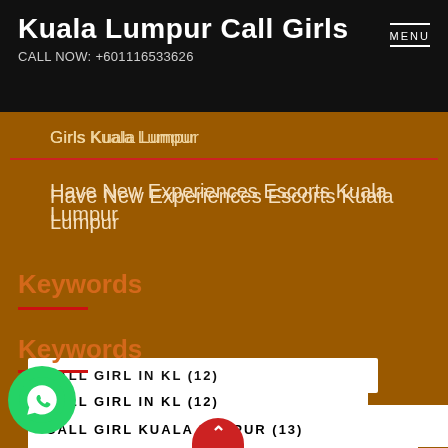Kuala Lumpur Call Girls
CALL NOW: +601116533626
Girls Kuala Lumpur
Have New Experiences Escorts Kuala Lumpur
Keywords
CALL GIRL IN KL (12)
CALL GIRL KUALA LUMPUR (13)
L GIRL MALAYSIA (10)